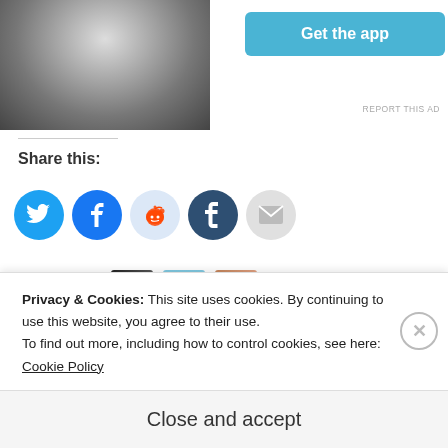[Figure (photo): Partial view of a person outdoors, top-left corner]
[Figure (other): Get the app button (cyan/blue rounded rectangle) with REPORT THIS AD text below]
Share this:
[Figure (infographic): Social share icon buttons: Twitter (blue bird), Facebook (blue f), Reddit (light blue alien), Tumblr (dark blue t), Email (grey envelope)]
[Figure (other): Like button with star icon and three blogger avatar thumbnails]
3 bloggers like this.
Related
Privacy & Cookies: This site uses cookies. By continuing to use this website, you agree to their use.
To find out more, including how to control cookies, see here: Cookie Policy
Close and accept